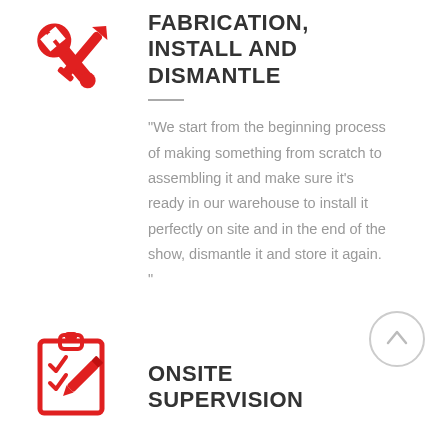[Figure (illustration): Red icon of crossed wrench and screwdriver tools]
FABRICATION, INSTALL AND DISMANTLE
“We start from the beginning process of making something from scratch to assembling it and make sure it’s ready in our warehouse to install it perfectly on site and in the end of the show, dismantle it and store it again. ”
[Figure (illustration): Scroll up button circle with upward chevron]
[Figure (illustration): Red icon of clipboard with checkmarks and pencil]
ONSITE SUPERVISION